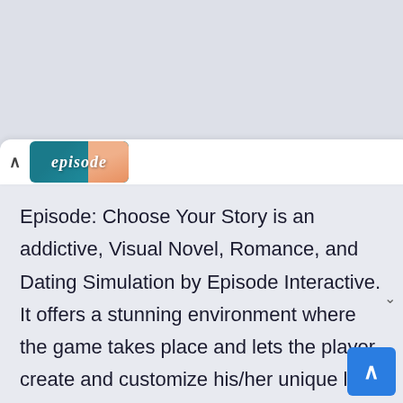[Figure (screenshot): Browser tab strip showing a chevron/back arrow and the Episode: Choose Your Story app logo on a teal/blue background with a partial face visible]
Episode: Choose Your Story is an addictive, Visual Novel, Romance, and Dating Simulation by Episode Interactive. It offers a stunning environment where the game takes place and lets the player create and customize his/her unique look and select the best outfits. Navigate the world to progress in the story and make new friends and chat with the clique.
There are over 35,000 stories, and the game enab the player to pick the path to write his/her storyLine